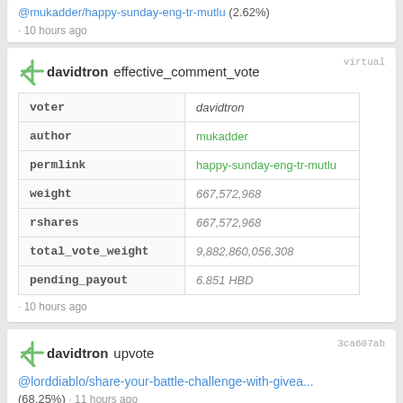@mukadder/happy-sunday-eng-tr-mutlu (2.62%) · 10 hours ago
davidtron effective_comment_vote
| field | value |
| --- | --- |
| voter | davidtron |
| author | mukadder |
| permlink | happy-sunday-eng-tr-mutlu |
| weight | 667,572,968 |
| rshares | 667,572,968 |
| total_vote_weight | 9,882,860,056,308 |
| pending_payout | 6.851 HBD |
· 10 hours ago
davidtron upvote @lorddiablo/share-your-battle-challenge-with-givea... (68.25%) · 11 hours ago
davidtron effective_comment_vote
| field | value |
| --- | --- |
| voter | davidtron |
| author | lorddiablo |
| permlink | share-your-battle-challenge-with-giveaway-tenyii-striker |
| weight | 18,715,073,652 |
| rshares | 18,715,073,652 |